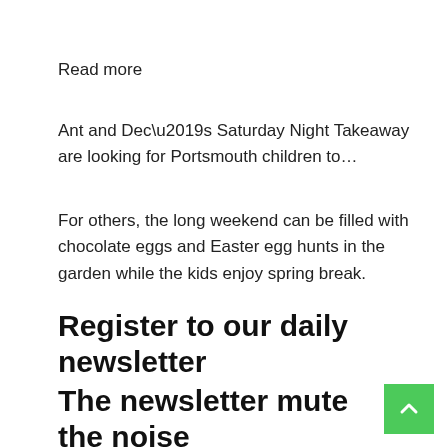Read more
Ant and Dec’s Saturday Night Takeaway are looking for Portsmouth children to…
For others, the long weekend can be filled with chocolate eggs and Easter egg hunts in the garden while the kids enjoy spring break.
Register to our daily newsletter
The newsletter mute the noise